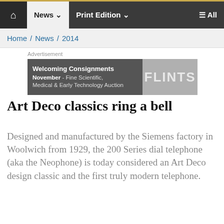News  Print Edition  All
Home / News / 2014
[Figure (infographic): Advertisement banner for FLINTS auction house. Left dark grey panel reads: 'Welcoming Consignments November - Fine Scientific, Medical & Early Technology Auction'. Right lighter grey panel shows 'FLINTS' in large letters.]
Art Deco classics ring a bell
Designed and manufactured by the Siemens factory in Woolwich from 1929, the 200 Series dial telephone (aka the Neophone) is today considered an Art Deco design classic and the first truly modern telephone.